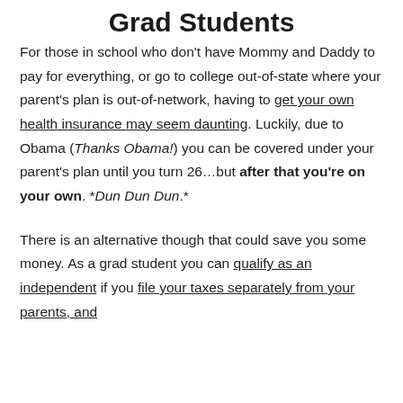Grad Students
For those in school who don't have Mommy and Daddy to pay for everything, or go to college out-of-state where your parent's plan is out-of-network, having to get your own health insurance may seem daunting. Luckily, due to Obama (Thanks Obama!) you can be covered under your parent's plan until you turn 26…but after that you're on your own. *Dun Dun Dun.*
There is an alternative though that could save you some money. As a grad student you can qualify as an independent if you file your taxes separately from your parents, and